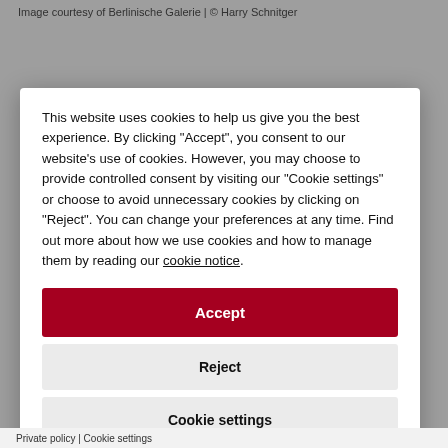Image courtesy of Berlinische Galerie | © Harry Schnitger
This website uses cookies to help us give you the best experience. By clicking "Accept", you consent to our website's use of cookies. However, you may choose to provide controlled consent by visiting our "Cookie settings" or choose to avoid unnecessary cookies by clicking on "Reject". You can change your preferences at any time. Find out more about how we use cookies and how to manage them by reading our cookie notice.
Accept
Reject
Cookie settings
Private policy | Cookie settings